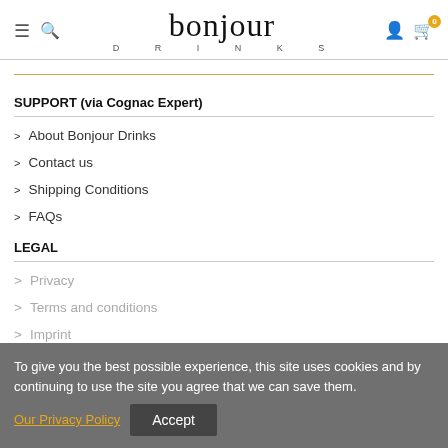bonjour DRINKS
SUPPORT (via Cognac Expert)
About Bonjour Drinks
Contact us
Shipping Conditions
FAQs
LEGAL
Privacy
Terms and conditions
Imprint
To give you the best possible experience, this site uses cookies and by continuing to use the site you agree that we can save them. Our Privacy Policy Accept